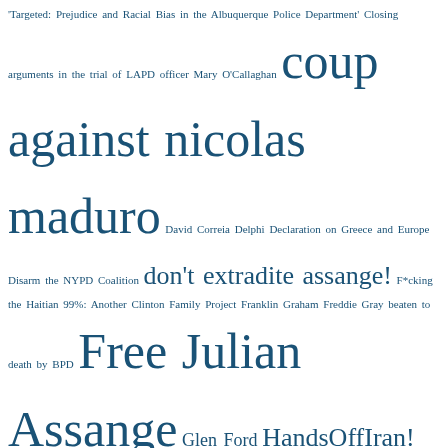Tag cloud with various political and social topics including: 'Targeted: Prejudice and Racial Bias in the Albuquerque Police Department' Closing arguments in the trial of LAPD officer Mary O'Callaghan coup against nicolas maduro David Correia Delphi Declaration on Greece and Europe Disarm the NYPD Coalition don't extradite assange! F*cking the Haitian 99%: Another Clinton Family Project Franklin Graham Freddie Gray beaten to death by BPD Free Julian Assange Glen Ford HandsOffIran! Hilarious Disconnect: White Liberals for Sanders Telling #BLM Activists What to Do ILWU May Day Oakland Port Shutdowns Jasmine Richards #BLM protestor charged with terrorism jr. Late Summer Police Stories: the Potentially Good Magna Carta at 800 May 2 #BlackSpring/#Baltimore Rising Medicaid clawbacks meta Neill Franklin 'Purge the Baltimore PD from within' New Pentagon "Law of War" Manual Novichok™ Obama declares Venezuela "an extraordinary threat to US national security" Obama Reiterates Enthusiastic Support for Legalizing MMJ oh yes Omali Yeshitalaya Orange Lady Preliminary Hearing of APD Cops Sandy and Perez in the Execution of James Boyd; Pt. I; a Storify Red Nation march on Gallup NM against violence and racism Respectability Politics Won't Cut It Now. Did They Ever? Rest in Peace and Paint Dear Antonio Ramos Reverend William E. Alberts San Carlos Apaches' Oak Flats Sovereign